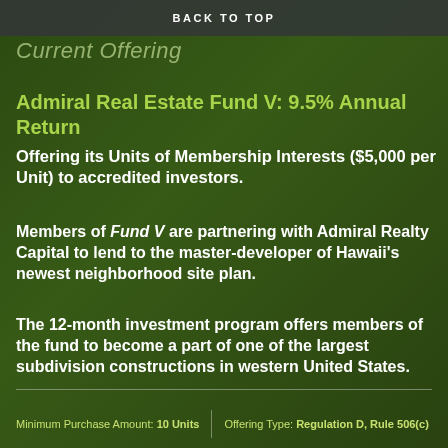BACK TO TOP
Current Offering
Admiral Real Estate Fund V:  9.5% Annual Return
Offering its Units of Membership Interests ($5,000 per Unit) to accredited investors.
Members of Fund V are partnering with Admiral Realty Capital to lend to the master-developer of Hawaii's newest neighborhood site plan.
The 12-month investment program offers members of the fund to become a part of one of the largest subdivision constructions in western United States.
Minimum Purchase Amount: 10 Units  |  Offering Type: Regulation D, Rule 506(c)